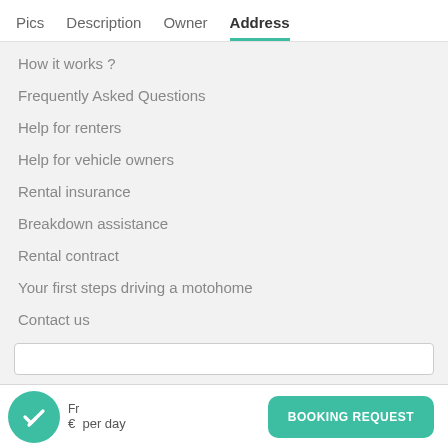Pics  Description  Owner  Address
How it works ?
Frequently Asked Questions
Help for renters
Help for vehicle owners
Rental insurance
Breakdown assistance
Rental contract
Your first steps driving a motohome
Contact us
Fr... €... per day   BOOKING REQUEST